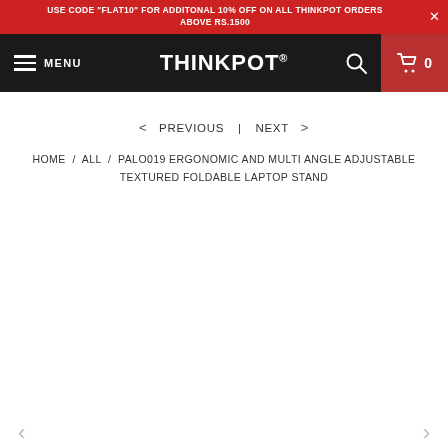USE CODE "FLAT10" FOR ADDITONAL 10% OFF ON ALL THINKPOT ORDERS ABOVE RS.1500
THINKPOT® — MENU | Search | Cart 0
< PREVIOUS  |  NEXT >
HOME / ALL / PALO019 ERGONOMIC AND MULTI ANGLE ADJUSTABLE TEXTURED FOLDABLE LAPTOP STAND
[Figure (other): Empty white product image area with left and right navigation arrows on either side]